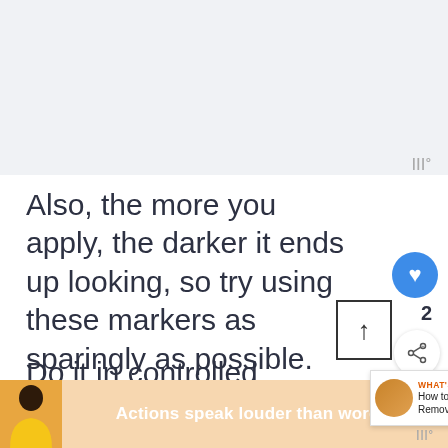[Figure (screenshot): Light gray top area representing an image or blank space above the article text]
Also, the more you apply, the darker it ends up looking, so try using these markers as sparingly as possible.
Do it in controlled strokes, so the... from the pencil fills up the scratch. Once...
[Figure (screenshot): Bottom advertisement banner: person in yellow shirt with text 'Actions speak louder than words.' with a close button and a 'What's Next' overlay showing 'How to Remove...']